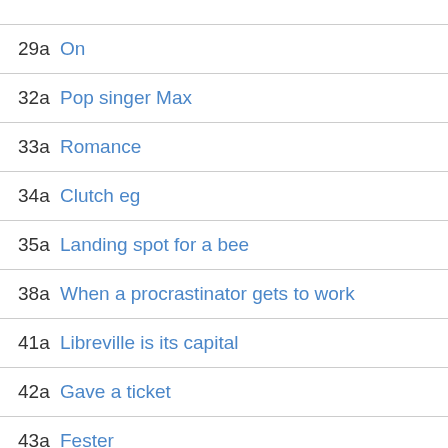29a On
32a Pop singer Max
33a Romance
34a Clutch eg
35a Landing spot for a bee
38a When a procrastinator gets to work
41a Libreville is its capital
42a Gave a ticket
43a Fester